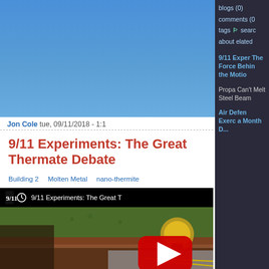911Blogger.com
blogs (0)  comments (0)  tags  search  about  related
Jon Cole  tue, 09/11/2018 - 1:1
9/11 Experiments: The Great Thermate Debate
Building 2   Molten Metal   nano-thermite   national geographic   NIST   thermate   thermite
[Figure (screenshot): YouTube video embed thumbnail showing 9/11 Experiments: The Great Thermate Debate, with a red play button over a scene of hands near a metal structure outdoors]
9/11 Experiments: The Force Behind the Motion
Propa Can't Melt Steel Beam
Air Defense Exerc a Month D...